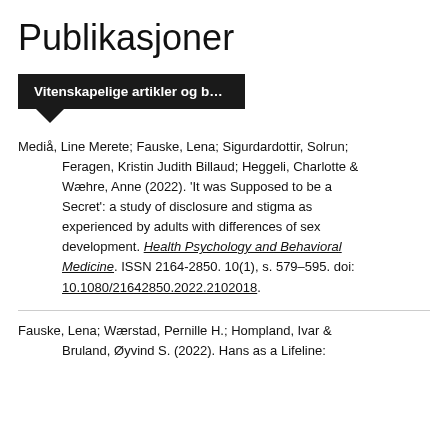Publikasjoner
Vitenskapelige artikler og b…
Mediå, Line Merete; Fauske, Lena; Sigurdardottir, Solrun; Feragen, Kristin Judith Billaud; Heggeli, Charlotte & Wæhre, Anne (2022). 'It was Supposed to be a Secret': a study of disclosure and stigma as experienced by adults with differences of sex development. Health Psychology and Behavioral Medicine. ISSN 2164-2850. 10(1), s. 579–595. doi: 10.1080/21642850.2022.2102018.
Fauske, Lena; Wærstad, Pernille H.; Hompland, Ivar & Bruland, Øyvind S. (2022). Hans as a Lifeline: